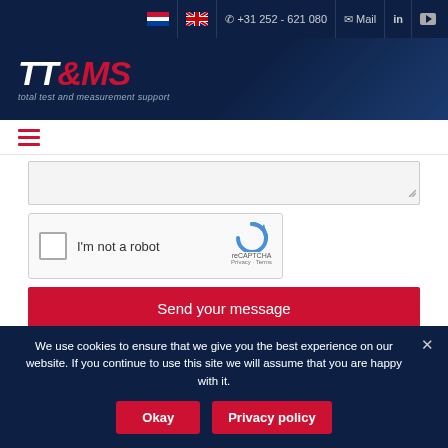+31 252 - 621 080  Mail
[Figure (logo): TT&MS logo - total test and measurement support]
[Figure (infographic): Hamburger menu icon (three horizontal red lines)]
[Figure (screenshot): Textarea form field with resize handle]
[Figure (screenshot): reCAPTCHA widget: checkbox, I'm not a robot text, reCAPTCHA logo, Privacy and Terms links]
Send your message
We use cookies to ensure that we give you the best experience on our website. If you continue to use this site we will assume that you are happy with it.
Okay
Privacy policy